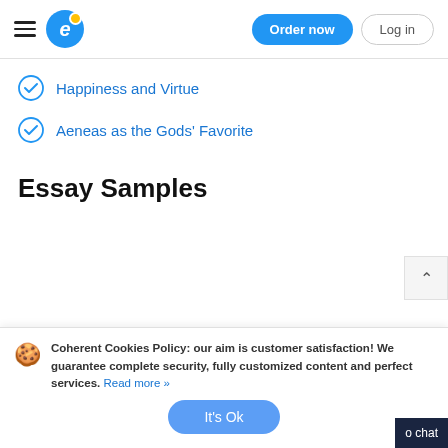Order now | Log in
Happiness and Virtue
Aeneas as the Gods' Favorite
Essay Samples
Coherent Cookies Policy: our aim is customer satisfaction! We guarantee complete security, fully customized content and perfect services. Read more »